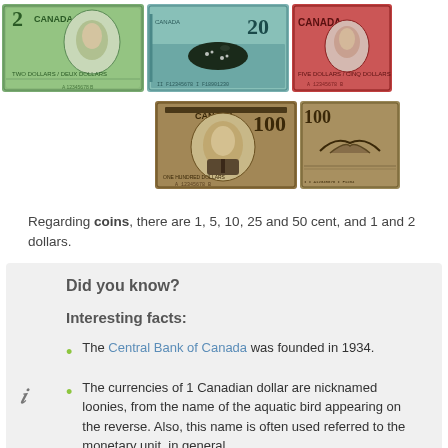[Figure (photo): Row of Canadian banknotes: $2 front, $20 back with loon, $5 front (partial), $100 front with portrait, $100 back with bird (partial)]
Regarding coins, there are 1, 5, 10, 25 and 50 cent, and 1 and 2 dollars.
Did you know?
Interesting facts:
The Central Bank of Canada was founded in 1934.
The currencies of 1 Canadian dollar are nicknamed loonies, from the name of the aquatic bird appearing on the reverse. Also, this name is often used referred to the monetary unit, in general.
The 2-dollar coins, featuring a polar bear are called twonies or toonies, based on the the word loonie and the word two.